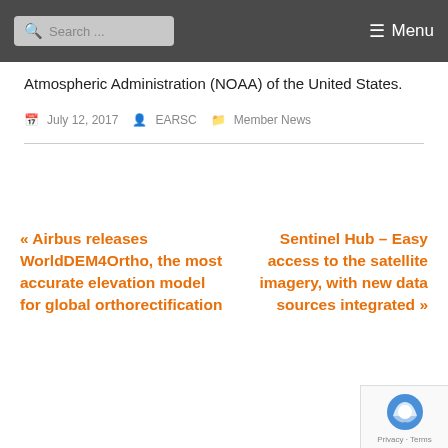Search ... Menu
Atmospheric Administration (NOAA) of the United States.
July 12, 2017   EARSC   Member News
« Airbus releases WorldDEM4Ortho, the most accurate elevation model for global orthorectification
Sentinel Hub – Easy access to the satellite imagery, with new data sources integrated »